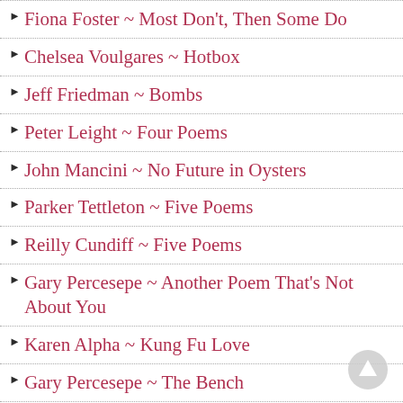Fiona Foster ~ Most Don't, Then Some Do
Chelsea Voulgares ~ Hotbox
Jeff Friedman ~ Bombs
Peter Leight ~ Four Poems
John Mancini ~ No Future in Oysters
Parker Tettleton ~ Five Poems
Reilly Cundiff ~ Five Poems
Gary Percesepe ~ Another Poem That's Not About You
Karen Alpha ~ Kung Fu Love
Gary Percesepe ~ The Bench
Michelle Ross ~ High Ground
Tiff Holland ~ Ending Up in the Ditch